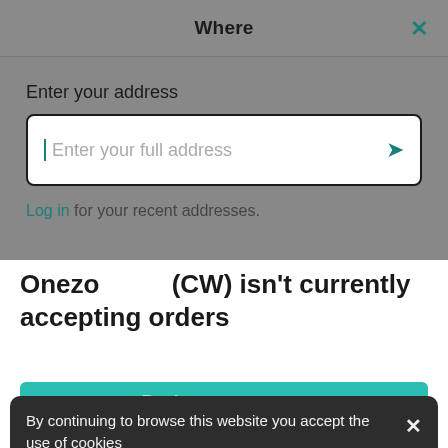Where
Enter your address
Enter your full address
Log in for your recent addresses.
Onezo        (CW) isn't currently accepting orders
Back to restaurants
By continuing to browse this website you accept the use of cookies